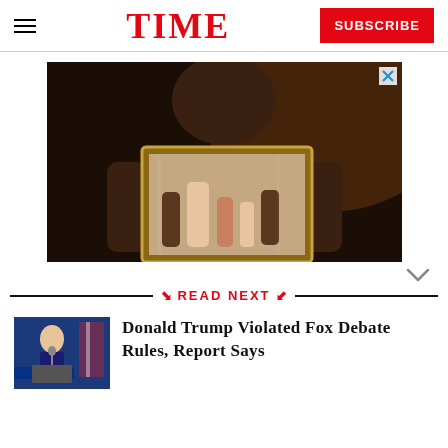TIME | SUBSCRIBE
[Figure (photo): Advertisement photo: person holding a framed family photograph, dark warm-toned background with close-up face visible above the frame.]
READ NEXT
[Figure (photo): Thumbnail photo of Donald Trump at a Fox News debate podium.]
Donald Trump Violated Fox Debate Rules, Report Says